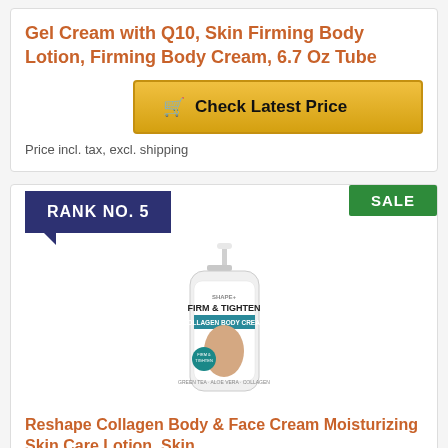Gel Cream with Q10, Skin Firming Body Lotion, Firming Body Cream, 6.7 Oz Tube
Check Latest Price
Price incl. tax, excl. shipping
SALE
RANK NO. 5
[Figure (photo): White pump bottle of Reshape Firm & Tighten Collagen Body Cream with a fitness model on the label]
Reshape Collagen Body & Face Cream Moisturizing Skin Care Lotion, Skin